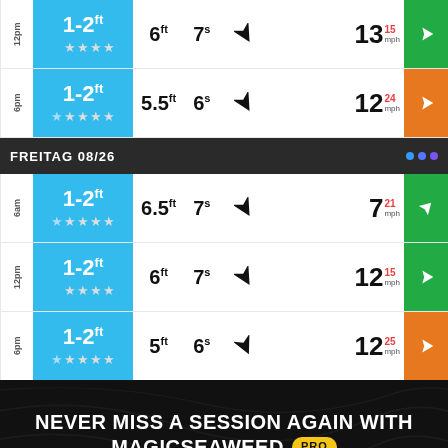| Time | Wave Height | Wave Period | Swell Period | Wind Direction | Wind Speed | Wind Badge |
| --- | --- | --- | --- | --- | --- | --- |
| 12pm | 1-2ft | 6ft | 7s | ↙ | 13 15mph | ← |
| 6pm | 1-2ft | 5.5ft | 6s | ↙ | 12 24mph | ← |
| FREITAG 08/26 |  |  |  |  |  |  |
| 6am | 1-2ft | 6.5ft | 7s | ↙ | 7 21mph | ↖ |
| 12pm | 1-2ft | 6ft | 7s | ↙ | 12 15mph | ← |
| 6pm | 1-2ft | 5ft | 6s | ↙ | 12 25mph | ← |
NEVER MISS A SESSION AGAIN WITH MAGICSEAWEED PRO
We all want more time in the water. Get access to long-range forecasts, hourly graphs and ad-free webcams.